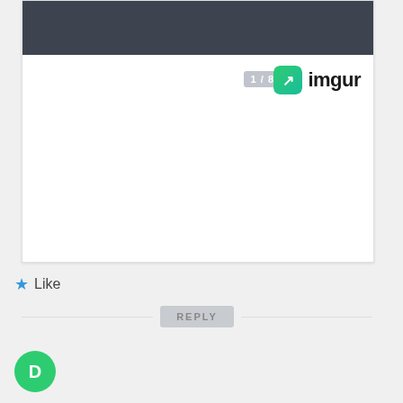[Figure (screenshot): Imgur image card with dark gray header, showing image counter '1 / 8' and Imgur logo with green icon and bold 'imgur' text]
Like
REPLY
[Figure (illustration): Partial view of a user avatar circle at bottom left]